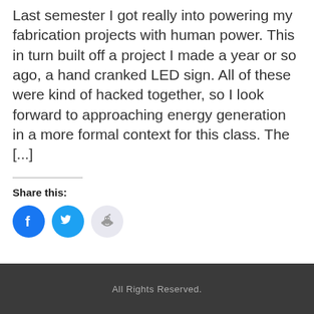Last semester I got really into powering my fabrication projects with human power. This in turn built off a project I made a year or so ago, a hand cranked LED sign. All of these were kind of hacked together, so I look forward to approaching energy generation in a more formal context for this class. The [...]
Share this:
[Figure (infographic): Three social sharing icon circles: Facebook (blue with F icon), Twitter (blue with bird icon), Reddit (light purple/gray with alien icon)]
All Rights Reserved.